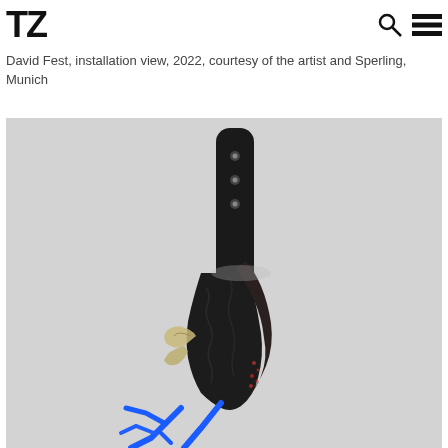TZ
David Fest, installation view, 2022, courtesy of the artist and Sperling, Munich
[Figure (photo): Installation view photograph showing a dark sculptural wall-mounted object with blue branch-like elements extending outward, against a light gray/white textured wall. The sculpture appears to include organic and industrial materials including what looks like a black paddle or board shape mounted on the wall with visible screws/bolts, with dried plant material and bright blue angular branch forms extending from the lower portion.]